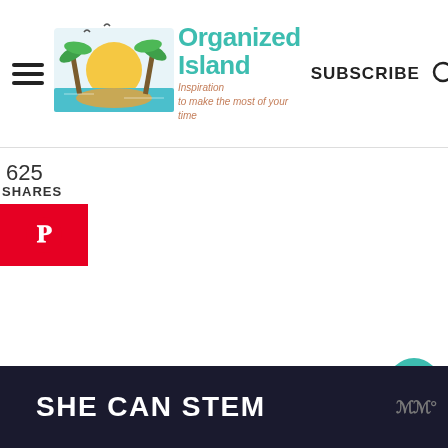Organized Island — Inspiration to make the most of your time | SUBSCRIBE
625
SHARES
[Figure (logo): Red Pinterest button with P icon]
[Figure (logo): Teal heart/like button showing 629]
[Figure (infographic): What's Next arrow with Thirty Six Salad Recipes thumbnail]
[Figure (screenshot): SHE CAN STEM ad banner in dark background with MMo logo]